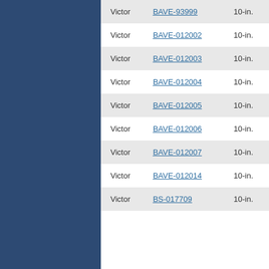| Victor | BAVE-93999 | 10-in. |
| Victor | BAVE-012002 | 10-in. |
| Victor | BAVE-012003 | 10-in. |
| Victor | BAVE-012004 | 10-in. |
| Victor | BAVE-012005 | 10-in. |
| Victor | BAVE-012006 | 10-in. |
| Victor | BAVE-012007 | 10-in. |
| Victor | BAVE-012014 | 10-in. |
| Victor | BS-017709 | 10-in. |